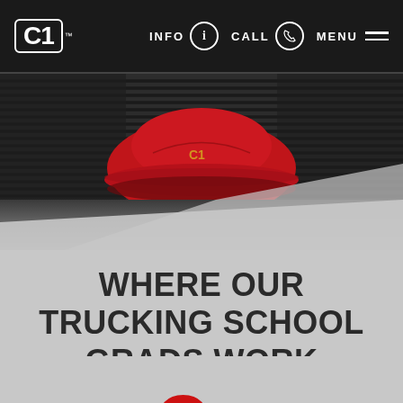C1  INFO  CALL  MENU
[Figure (photo): Close-up photo of a red baseball cap with C1 logo resting on a ribbed black rubber mat]
WHERE OUR TRUCKING SCHOOL GRADS WORK